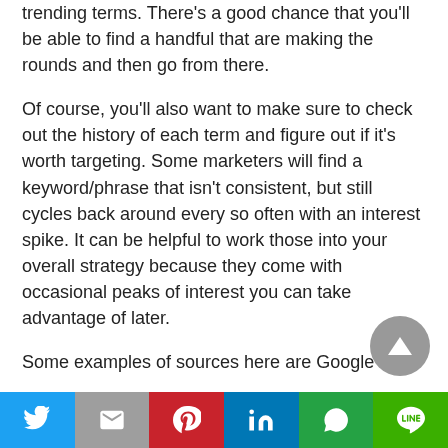trending terms. There's a good chance that you'll be able to find a handful that are making the rounds and then go from there.
Of course, you'll also want to make sure to check out the history of each term and figure out if it's worth targeting. Some marketers will find a keyword/phrase that isn't consistent, but still cycles back around every so often with an interest spike. It can be helpful to work those into your overall strategy because they come with occasional peaks of interest you can take advantage of later.
Some examples of sources here are Google
[Figure (other): Scroll-to-top button: circular grey button with upward-pointing triangle arrow]
Social share bar: Twitter, Gmail, Pinterest, LinkedIn, WhatsApp, LINE